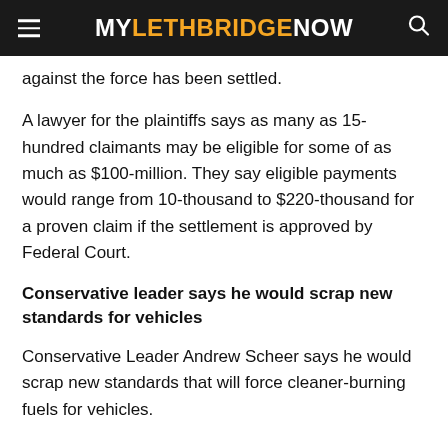MY LETHBRIDGE NOW
against the force has been settled.
A lawyer for the plaintiffs says as many as 15-hundred claimants may be eligible for some of as much as $100-million. They say eligible payments would range from 10-thousand to $220-thousand for a proven claim if the settlement is approved by Federal Court.
Conservative leader says he would scrap new standards for vehicles
Conservative Leader Andrew Scheer says he would scrap new standards that will force cleaner-burning fuels for vehicles.